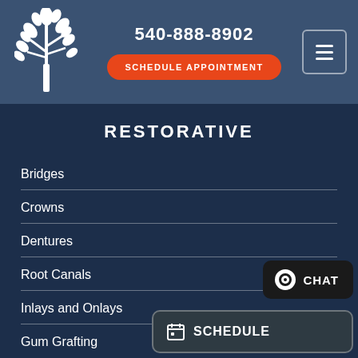[Figure (logo): White tree logo on steel blue background]
540-888-8902
SCHEDULE APPOINTMENT
RESTORATIVE
Bridges
Crowns
Dentures
Root Canals
Inlays and Onlays
Gum Grafting
CHAT
SCHEDULE